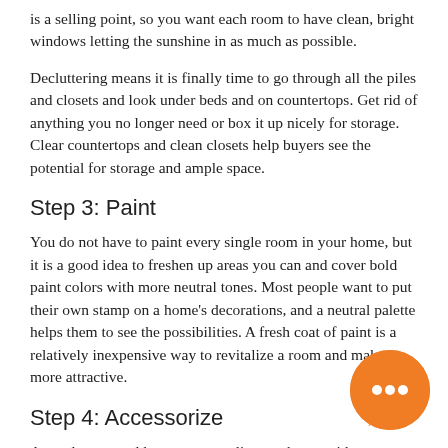is a selling point, so you want each room to have clean, bright windows letting the sunshine in as much as possible.
Decluttering means it is finally time to go through all the piles and closets and look under beds and on countertops. Get rid of anything you no longer need or box it up nicely for storage. Clear countertops and clean closets help buyers see the potential for storage and ample space.
Step 3: Paint
You do not have to paint every single room in your home, but it is a good idea to freshen up areas you can and cover bold paint colors with more neutral tones. Most people want to put their own stamp on a home's decorations, and a neutral palette helps them to see the possibilities. A fresh coat of paint is a relatively inexpensive way to revitalize a room and make it more attractive.
Step 4: Accessorize
A good way to add some personality to a home without overwhelming buyers is to add some cute accessories in each
[Figure (illustration): Orange circular chat bubble icon with three dots (ellipsis) in white, positioned at bottom right of page]